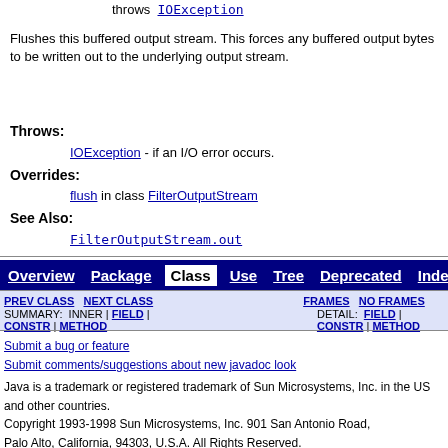throws IOException
Flushes this buffered output stream. This forces any buffered output bytes to be written out to the underlying output stream.
Throws:
IOException - if an I/O error occurs.
Overrides:
flush in class FilterOutputStream
See Also:
FilterOutputStream.out
Overview | Package | Class | Use | Tree | Deprecated | Index | H
PREV CLASS  NEXT CLASS    FRAMES  NO FRAMES
SUMMARY: INNER | FIELD | CONSTR | METHOD  DETAIL: FIELD | CONSTR | METHOD
Submit a bug or feature
Submit comments/suggestions about new javadoc look
Java is a trademark or registered trademark of Sun Microsystems, Inc. in the US and other countries.
Copyright 1993-1998 Sun Microsystems, Inc. 901 San Antonio Road, Palo Alto, California, 94303, U.S.A. All Rights Reserved.
This documentation was generated with a post-Beta4 version of Javadoc.